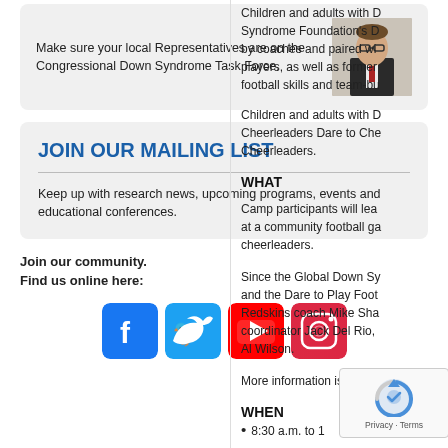Make sure your local Representatives are on the Congressional Down Syndrome Task Force.
[Figure (photo): Photo of a man in a suit and glasses sitting at a table]
JOIN OUR MAILING LIST
Keep up with research news, upcoming programs, events and educational conferences.
Join our community.
Find us online here:
[Figure (logo): Social media icons: Facebook, Twitter, YouTube, Instagram]
Children and adults with D... Syndrome Foundation's D... by coaches and paired wi... players, as well as former football skills and team-bu...
Children and adults with D... Cheerleaders Dare to Che... Cheerleaders.
WHAT
Camp participants will lea... at a community football ga... cheerleaders.
Since the Global Down Sy... and the Dare to Play Foot... Redskins coach Mike Sha... coordinator Jack Del Rio, ... Al Wilson.
More information is availa...
WHEN
8:30 a.m. to 1...